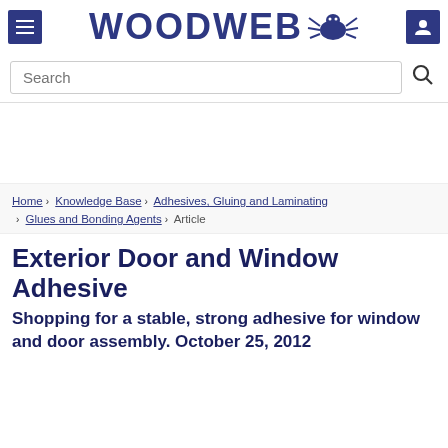WOODWEB
Search
Home › Knowledge Base › Adhesives, Gluing and Laminating › Glues and Bonding Agents › Article
Exterior Door and Window Adhesive
Shopping for a stable, strong adhesive for window and door assembly. October 25, 2012